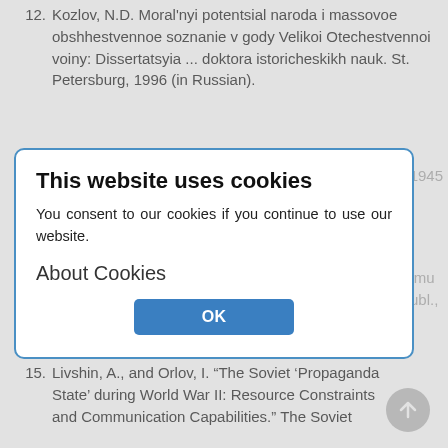12. Kozlov, N.D. Moral'nyi potentsial naroda i massovoe obshhestvennoe soznanie v gody Velikoi Otechestvennoi voiny: Dissertatsyia ... doktora istoricheskikh nauk. St. Petersburg, 1996 (in Russian).
13. Krinko, E.F. "Obrazy protivnika v obshhhestve v 1941-1945 godakh". Rossiiskaia istoriia, no. 5 (2010): 74-89 (in Russian).
14. Lubovskii, N. Pamiatka Mskouromgo polka k 200-letnemu iubileiu. 1708-1908. Warsaw: Russkoe obshchestvo Publ., 1908 (in Russian).
[Figure (screenshot): Cookie consent overlay dialog with title 'This website uses cookies', body text 'You consent to our cookies if you continue to use our website.', section header 'About Cookies', and an OK button.]
15. Livshin, A., and Orlov, I. "The Soviet 'Propaganda State' during World War II: Resource Constraints and Communication Capabilities." The Soviet